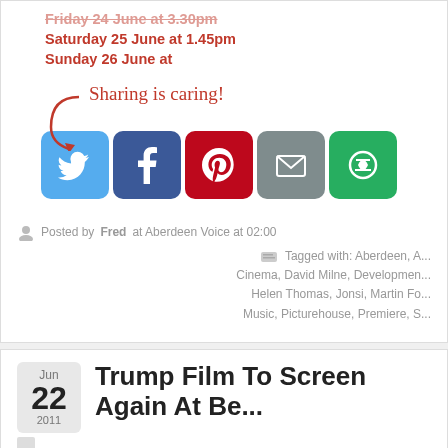Friday 24 June at 3.30pm
Saturday 25 June at 1.45pm
Sunday 26 June at
[Figure (infographic): Sharing is caring! social share buttons: Twitter, Facebook, Pinterest, Email, More]
Posted by Fred at Aberdeen Voice at 02:00
Tagged with: Aberdeen, A... Cinema, David Milne, Development... Helen Thomas, Jonsi, Martin Fo... Music, Picturehouse, Premiere, S...
Jun 22 2011
Trump Film To Screen Again At Be...
Aberdeen City, Aberdeenshire, Articles, Community, Environment, Feat... Opinion
By Fred Wilkinson, with thanks to Tripping Up Trump.